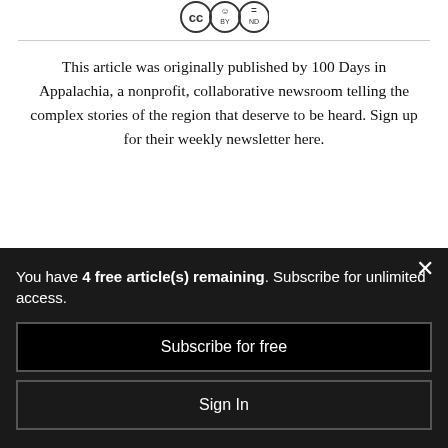[Figure (logo): Creative Commons BY-ND license logo with CC, person, and equals icons]
This article was originally published by 100 Days in Appalachia, a nonprofit, collaborative newsroom telling the complex stories of the region that deserve to be heard. Sign up for their weekly newsletter here.
You have 4 free article(s) remaining. Subscribe for unlimited access.
Subscribe for free
Sign In